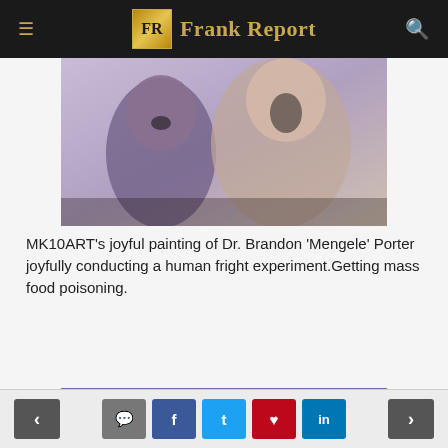Frank Report
[Figure (illustration): MK10ART painting of two figures with mouths open — one laughing, one screaming — appearing to depict a human fright experiment scene]
MK10ART’s joyful painting of Dr. Brandon ‘Mengele’ Porter joyfully conducting a human fright experiment.Getting mass food poisoning.
[Figure (illustration): MK10ART illustration with a banner reading 'NXIVM ESP August 2016 Silver Bay, NY' above cartoon figures of people]
Navigation: back, comment, share on Facebook, Twitter, Pinterest, LinkedIn, forward